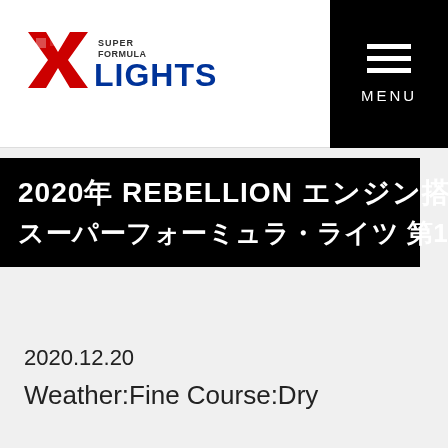[Figure (logo): Super Formula Lights logo with red X/checkered flag icon and LIGHTS text in blue]
2020年 REBELLION エンジン搭載スーパーフォーミュラ・ライツ
スーパーフォーミュラ・ライツ 第17戦 決勝 リザルト
2020.12.20
Weather:Fine Course:Dry